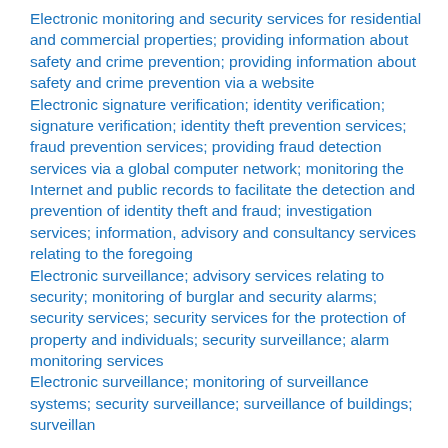Electronic monitoring and security services for residential and commercial properties; providing information about safety and crime prevention; providing information about safety and crime prevention via a website
Electronic signature verification; identity verification; signature verification; identity theft prevention services; fraud prevention services; providing fraud detection services via a global computer network; monitoring the Internet and public records to facilitate the detection and prevention of identity theft and fraud; investigation services; information, advisory and consultancy services relating to the foregoing
Electronic surveillance; advisory services relating to security; monitoring of burglar and security alarms; security services; security services for the protection of property and individuals; security surveillance; alarm monitoring services
Electronic surveillance; monitoring of surveillance systems; security surveillance; surveillance of buildings; surveillance...